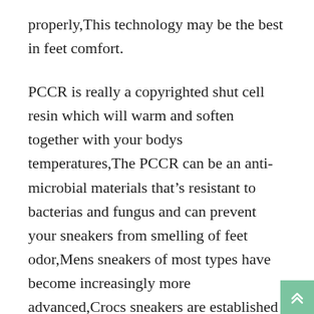properly,This technology may be the best in feet comfort.
PCCR is really a copyrighted shut cell resin which will warm and soften together with your bodys temperatures,The PCCR can be an anti-microbial materials that’s resistant to bacterias and fungus and can prevent your sneakers from smelling of feet odor,Mens sneakers of most types have become increasingly more advanced,Crocs sneakers are established to business lead the sector in convenience and hi-tech quality for guys.
Many men wish to provide their sneakers